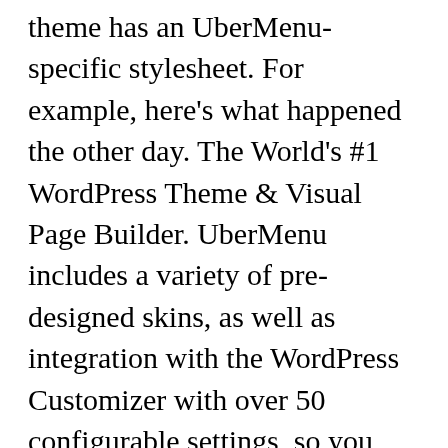theme has an UberMenu-specific stylesheet. For example, here's what happened the other day. The World's #1 WordPress Theme & Visual Page Builder. UberMenu includes a variety of pre-designed skins, as well as integration with the WordPress Customizer with over 50 configurable settings, so you can design your menu style with a Live Preview. Divi Theme – Mehr als nur ein WordPress Theme! WordPress 3.8.34 □□5.5.1□□□□□□□□. tolle Bilder-Slider, Foto-Galerien oder Social-Media Elemente an. Skontaktuj się z nami pod poniższymi danymi. Buy uber app website templates from $10. Because, a large number of modern generation is highly addicted to